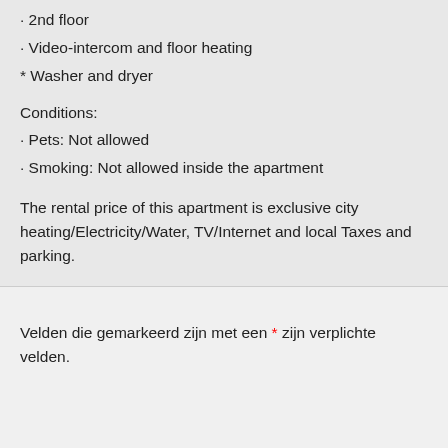• 2nd floor
• Video-intercom and floor heating
* Washer and dryer
Conditions:
• Pets: Not allowed
• Smoking: Not allowed inside the apartment
The rental price of this apartment is exclusive city heating/Electricity/Water, TV/Internet and local Taxes and parking.
Velden die gemarkeerd zijn met een * zijn verplichte velden.